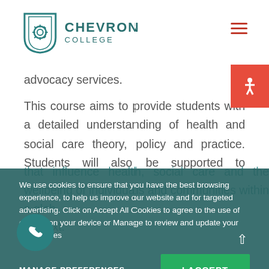Chevron College
advocacy services.
This course aims to provide students with a detailed understanding of health and social care theory, policy and practice. Students will also be supported to understand key contemporary issues that influence health, social care and the wellbeing of individuals and communities within a global context.
We use cookies to ensure that you have the best browsing experience, to help us improve our website and for targeted advertising. Click on Accept All Cookies to agree to the use of cookies on your device or Manage to review and update your preferences